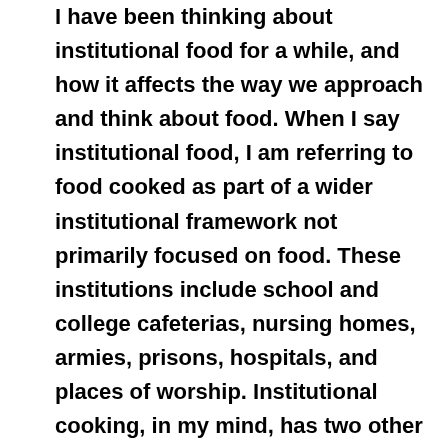I have been thinking about institutional food for a while, and how it affects the way we approach and think about food. When I say institutional food, I am referring to food cooked as part of a wider institutional framework not primarily focused on food. These institutions include school and college cafeterias, nursing homes, armies, prisons, hospitals, and places of worship. Institutional cooking, in my mind, has two other defining characteristics. One is that such cuisine is generally made for large groups – institutions provide for the needs, food and otherwise, of hundreds or thousands of people on a regular basis. Those people have a variety of needs and preferences, allergies and aversions, practices and metabolisms, which compounds the challenges of cooking, already made difficult by the scale of the endeavor. The other defining aspect is that institutional cooking has a